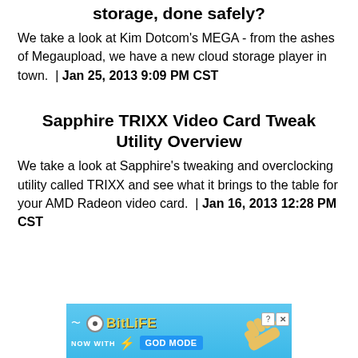storage, done safely?
We take a look at Kim Dotcom's MEGA - from the ashes of Megaupload, we have a new cloud storage player in town.  | Jan 25, 2013 9:09 PM CST
Sapphire TRIXX Video Card Tweak Utility Overview
We take a look at Sapphire's tweaking and overclocking utility called TRIXX and see what it brings to the table for your AMD Radeon video card.  | Jan 16, 2013 12:28 PM CST
[Figure (other): BitLife advertisement banner - 'NOW WITH GOD MODE' promotional ad with hand pointing graphic]